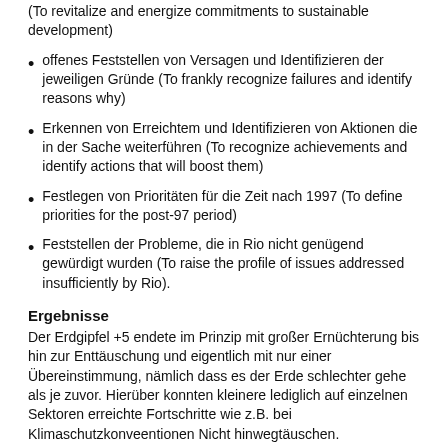(To revitalize and energize commitments to sustainable development)
offenes Feststellen von Versagen und Identifizieren der jeweiligen Gründe (To frankly recognize failures and identify reasons why)
Erkennen von Erreichtem und Identifizieren von Aktionen die in der Sache weiterführen (To recognize achievements and identify actions that will boost them)
Festlegen von Prioritäten für die Zeit nach 1997 (To define priorities for the post-97 period)
Feststellen der Probleme, die in Rio nicht genügend gewürdigt wurden (To raise the profile of issues addressed insufficiently by Rio).
Ergebnisse
Der Erdgipfel +5 endete im Prinzip mit großer Ernüchterung bis hin zur Enttäuschung und eigentlich mit nur einer Übereinstimmung, nämlich dass es der Erde schlechter gehe als je zuvor. Hierüber konnten kleinere lediglich auf einzelnen Sektoren erreichte Fortschritte wie z.B. bei Klimaschutzkonveentionen Nicht hinwegtäuschen.